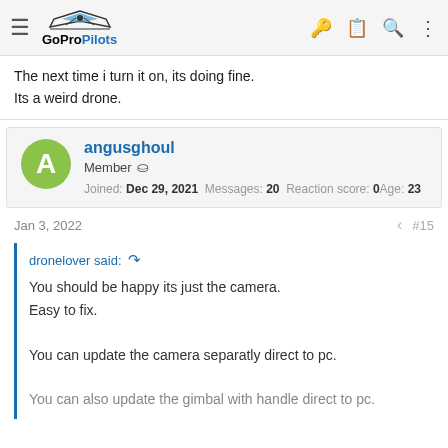GoProPilots
The next time i turn it on, its doing fine.
Its a weird drone.
angusghoul
Member
Joined: Dec 29, 2021  Messages: 20  Reaction score: 0
Age: 23
Jan 3, 2022  #15
dronelover said:
You should be happy its just the camera.
Easy to fix.

You can update the camera separatly direct to pc.

You can also update the gimbal with handle direct to pc.